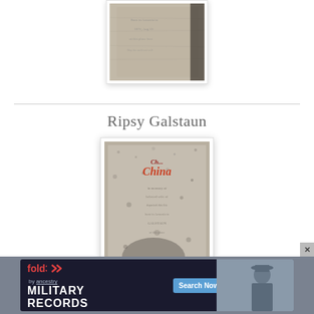[Figure (photo): Partial view of a gravestone photo, cropped at top of page]
Ripsy Galstaun
[Figure (photo): Gravestone photo with red lettering and weathered text, in white bordered frame with shadow]
[Figure (screenshot): Fold3 by Ancestry advertisement banner for Military Records with Search Now button and military soldier photo]